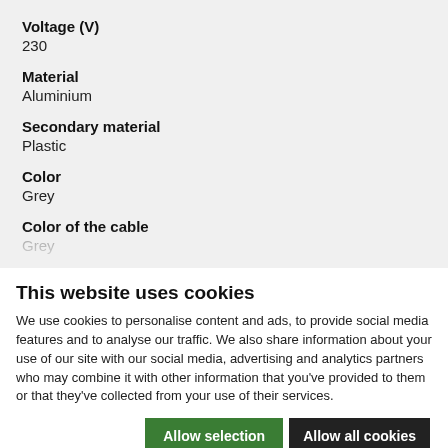Voltage (V)
230
Material
Aluminium
Secondary material
Plastic
Color
Grey
Color of the cable
Grey
This website uses cookies
We use cookies to personalise content and ads, to provide social media features and to analyse our traffic. We also share information about your use of our site with our social media, advertising and analytics partners who may combine it with other information that you've provided to them or that they've collected from your use of their services.
Allow selection | Allow all cookies
Necessary  Preferences  Statistics  Marketing  Show details